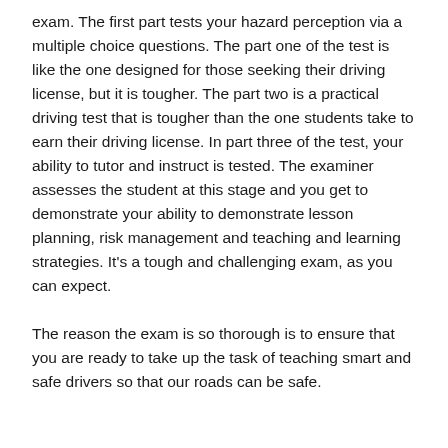exam. The first part tests your hazard perception via a multiple choice questions. The part one of the test is like the one designed for those seeking their driving license, but it is tougher. The part two is a practical driving test that is tougher than the one students take to earn their driving license. In part three of the test, your ability to tutor and instruct is tested. The examiner assesses the student at this stage and you get to demonstrate your ability to demonstrate lesson planning, risk management and teaching and learning strategies. It's a tough and challenging exam, as you can expect.
The reason the exam is so thorough is to ensure that you are ready to take up the task of teaching smart and safe drivers so that our roads can be safe.